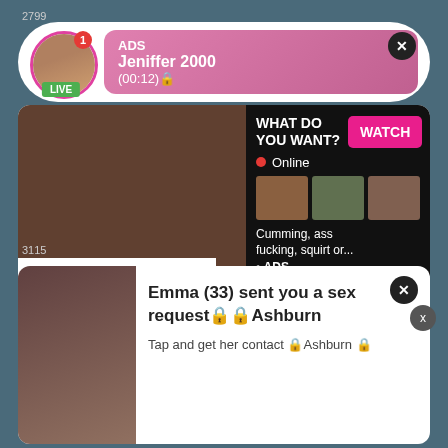2799
[Figure (screenshot): Live ad notification with avatar, LIVE badge, ADS label, name Jeniffer 2000, time (00:12), pink gradient background, close X button]
[Figure (screenshot): Adult advertisement with photo and right panel showing WHAT DO YOU WANT? WATCH button, Online indicator, thumbnail images, text: Cumming, ass fucking, squirt or... ADS]
VIAG CIALIS Lowest price guarantee!
3115
[Figure (screenshot): Adult notification card with photo and text: Emma (33) sent you a sex request Ashburn, Tap and get her contact Ashburn, close X button]